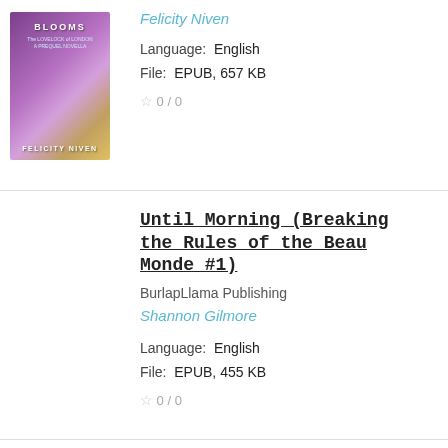[Figure (illustration): Book cover for a novella titled BLOOMS by Felicity Niven, featuring purple floral and yellow dress imagery]
Felicity Niven
Language: English
File: EPUB, 657 KB
0 / 0
Until Morning (Breaking the Rules of the Beau Monde #1)
BurlapLlama Publishing
Shannon Gilmore
Language: English
File: EPUB, 455 KB
0 / 0
Katherine: Lady Of